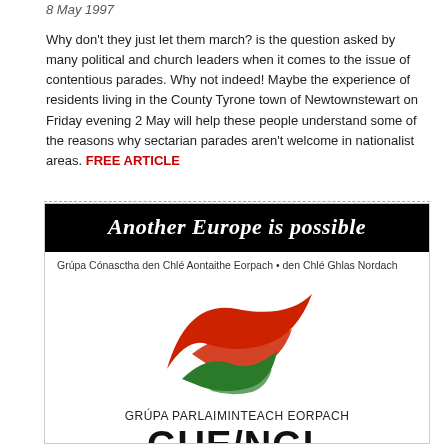8 May 1997
Why don't they just let them march? is the question asked by many political and church leaders when it comes to the issue of contentious parades. Why not indeed! Maybe the experience of residents living in the County Tyrone town of Newtownstewart on Friday evening 2 May will help these people understand some of the reasons why sectarian parades aren't welcome in nationalist areas. FREE ARTICLE
[Figure (logo): GUE/NGL advertisement banner: 'Another Europe is possible' in white italic text on black background, subtitle in Irish 'Grúpa Cónasctha den Chlé Aontaithe Eorpach • den Chlé Ghlas Nordach', red and green checkmark/book logo, text 'GRÚPA PARLAIMINTEACH EORPACH' and large bold 'GUE/NGL']